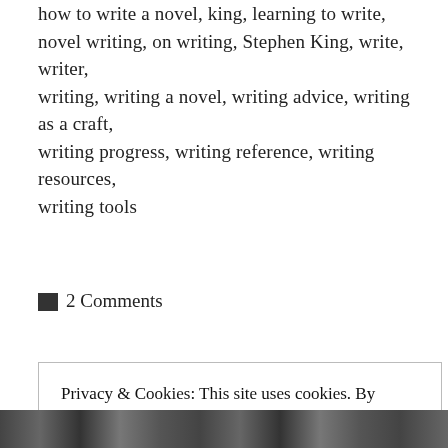how to write a novel, king, learning to write, novel writing, on writing, Stephen King, write, writer, writing, writing a novel, writing advice, writing as a craft, writing progress, writing reference, writing resources, writing tools
■ 2 Comments
Privacy & Cookies: This site uses cookies. By continuing to use this website, you agree to their use. To find out more, including how to control cookies, see here: Cookie Policy
Close and accept
[Figure (photo): Black and white photo strip at the bottom of the page, partially visible]